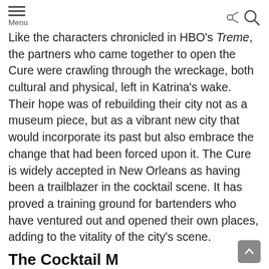Menu
Like the characters chronicled in HBO’s Treme, the partners who came together to open the Cure were crawling through the wreckage, both cultural and physical, left in Katrina’s wake. Their hope was of rebuilding their city not as a museum piece, but as a vibrant new city that would incorporate its past but also embrace the change that had been forced upon it. The Cure is widely accepted in New Orleans as having been a trailblazer in the cocktail scene. It has proved a training ground for bartenders who have ventured out and opened their own places, adding to the vitality of the city’s scene.
The Cocktail M…